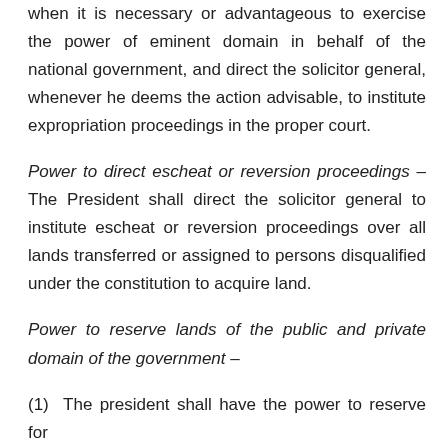Power of eminent domain — The President shall determine when it is necessary or advantageous to exercise the power of eminent domain in behalf of the national government, and direct the solicitor general, whenever he deems the action advisable, to institute expropriation proceedings in the proper court.
Power to direct escheat or reversion proceedings – The President shall direct the solicitor general to institute escheat or reversion proceedings over all lands transferred or assigned to persons disqualified under the constitution to acquire land.
Power to reserve lands of the public and private domain of the government –
(1)  The president shall have the power to reserve for